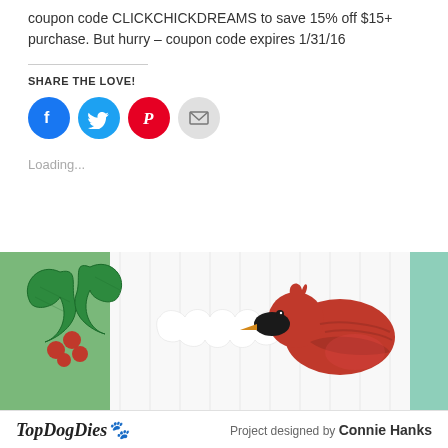coupon code CLICKCHICKDREAMS to save 15% off $15+ purchase. But hurry – coupon code expires 1/31/16
SHARE THE LOVE!
[Figure (infographic): Four social share buttons: Facebook (blue circle), Twitter (light blue circle), Pinterest (red circle), Email (gray circle)]
Loading...
[Figure (photo): Close-up craft photo showing green holly leaves and red berries on the left, and a red cardinal bird with black beak facing left on the right, against a white/light background. Bottom bar shows TopDogDies logo and 'Project designed by Connie Hanks'.]